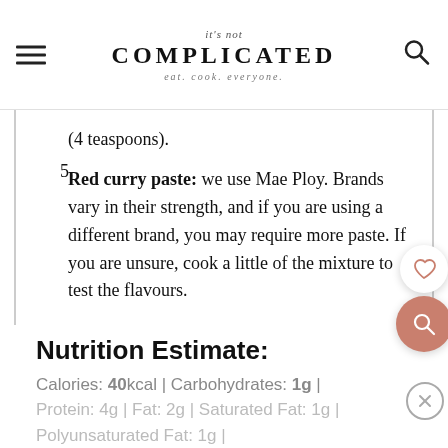it's not COMPLICATED eat. cook. everyone.
(4 teaspoons).
5. Red curry paste: we use Mae Ploy. Brands vary in their strength, and if you are using a different brand, you may require more paste. If you are unsure, cook a little of the mixture to test the flavours.
Nutrition Estimate:
Calories: 40kcal | Carbohydrates: 1g |
Protein: 4g | Fat: 2g | Saturated Fat: 1g |
Polyunsaturated Fat: 1g |